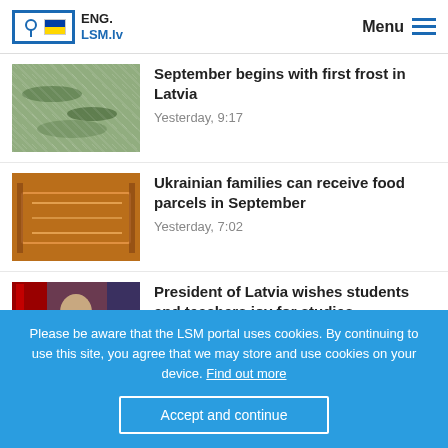ENG. LSM.lv — Menu
[Figure (photo): Frost-covered plants or branches outdoors]
September begins with first frost in Latvia
Yesterday, 9:17
[Figure (photo): Shopping carts or food items in a store/warehouse, orange-toned]
Ukrainian families can receive food parcels in September
Yesterday, 7:02
[Figure (photo): President of Latvia at a podium with flags in background]
President of Latvia wishes students and teachers joy for studies
Please be aware that the LSM portal uses cookies. By continuing to use this site, you agree that we may store and use cookies on your device. Find out more
Accept and continue